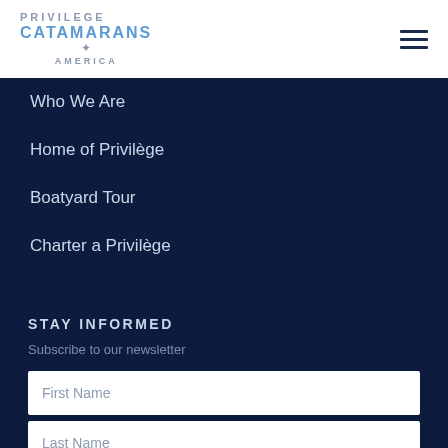[Figure (logo): Privilege Catamarans America logo with compass star icon]
[Figure (other): Hamburger menu icon (three horizontal lines)]
Who We Are
Home of Privilège
Boatyard Tour
Charter a Privilège
STAY INFORMED
Subscribe to our newsletter
First Name
Last Name
Your Email